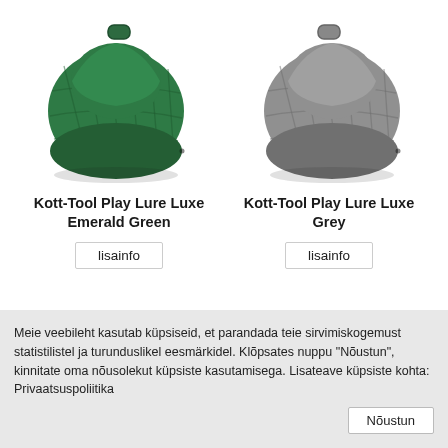[Figure (photo): Green quilted bean bag chair (Kott-Tool Play Lure Luxe Emerald Green) on white background]
Kott-Tool Play Lure Luxe Emerald Green
[Figure (photo): Grey quilted bean bag chair (Kott-Tool Play Lure Luxe Grey) on white background]
Kott-Tool Play Lure Luxe Grey
Meie veebileht kasutab küpsiseid, et parandada teie sirvimiskogemust statistilistel ja turunduslikel eesmärkidel. Klõpsates nuppu "Nõustun", kinnitate oma nõusolekut küpsiste kasutamisega. Lisateave küpsiste kohta: Privaatsuspoliitika